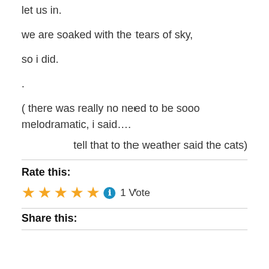let us in.
we are soaked with the tears of sky,
so i did.
.
( there was really no need to be sooo melodramatic, i said….
tell that to the weather said the cats)
Rate this:
1 Vote
Share this: